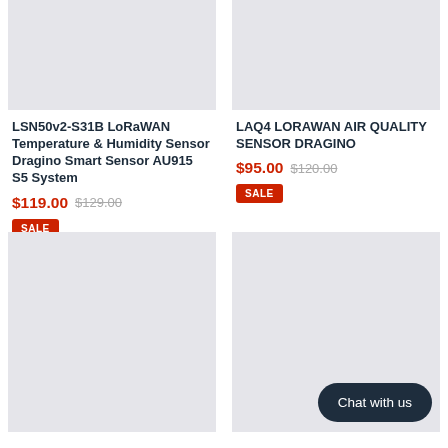[Figure (photo): Product image placeholder (light gray rectangle) for LSN50v2-S31B sensor]
[Figure (photo): Product image placeholder (light gray rectangle) for LAQ4 LoRaWAN Air Quality Sensor]
LSN50v2-S31B LoRaWAN Temperature & Humidity Sensor Dragino Smart Sensor AU915 S5 System
$119.00  $129.00
SALE
LAQ4 LORAWAN AIR QUALITY SENSOR DRAGINO
$95.00  $120.00
SALE
[Figure (photo): Product image placeholder (light gray rectangle) bottom left]
[Figure (photo): Product image placeholder (light gray rectangle) bottom right with Chat with us button]
Chat with us